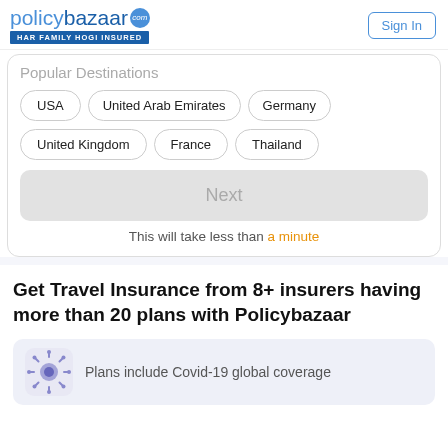[Figure (logo): Policybazaar logo with tagline HAR FAMILY HOGI INSURED]
Sign In
Popular Destinations
USA
United Arab Emirates
Germany
United Kingdom
France
Thailand
Next
This will take less than a minute
Get Travel Insurance from 8+ insurers having more than 20 plans with Policybazaar
Plans include Covid-19 global coverage